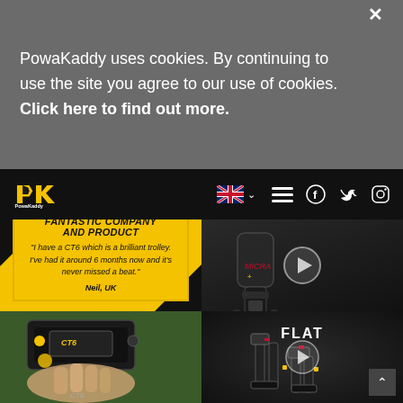PowaKaddy uses cookies. By continuing to use the site you agree to our use of cookies. Click here to find out more.
[Figure (screenshot): PowaKaddy website navigation bar with logo, UK flag, hamburger menu, Facebook, Twitter, Instagram icons on black background]
[Figure (screenshot): Yellow review card with black diagonal corners reading FANTASTIC COMPANY AND PRODUCT, review by Neil UK about CT6 trolley, with 5 gold stars]
[Figure (screenshot): Video thumbnail of PowaKaddy Micra electric trolley rear view on dark background with play button]
[Figure (photo): Close-up photo of a hand holding a PowaKaddy CT6 electric trolley controller/handlebar on grass]
[Figure (screenshot): PowaKaddy FLAT folding trolley product video thumbnail with play button and back-to-top arrow]